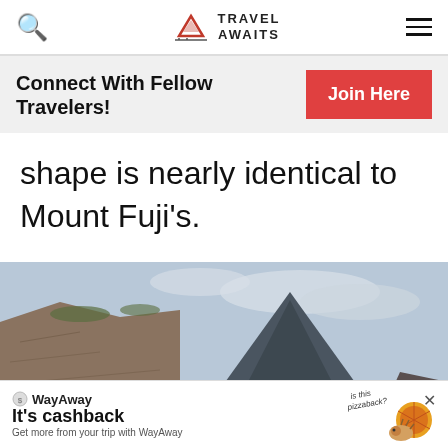Travel Awaits — navigation bar with search icon, logo, and menu icon
Connect With Fellow Travelers!
Join Here
shape is nearly identical to Mount Fuji's.
[Figure (photo): Mountain peak with rocky cliffs in the foreground and a pale overcast sky, the mountain shape resembling Mount Fuji]
WayAway It's cashback Get more from your trip with WayAway